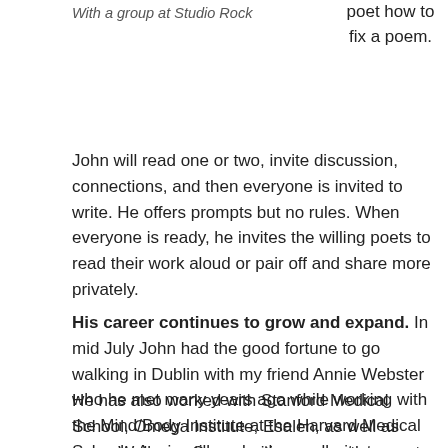With a group at Studio Rock
poet how to fix a poem.
John will read one or two, invite discussion, connections, and then everyone is invited to write. He offers prompts but no rules. When everyone is ready, he invites the willing poets to read their work aloud or pair off and share more privately.
His career continues to grow and expand. In mid July John had the good fortune to go walking in Dublin with my friend Annie Webster who he met many years ago while working with the Mind/Body Institute at the Harvard Medical School.  Annie still works there, albeit at Massachusetts General Hospital now.
He has also worked with Stanford Medical School, Omega Institute, Esalen, as well as many Wellness Communities across the country. Over the summer he